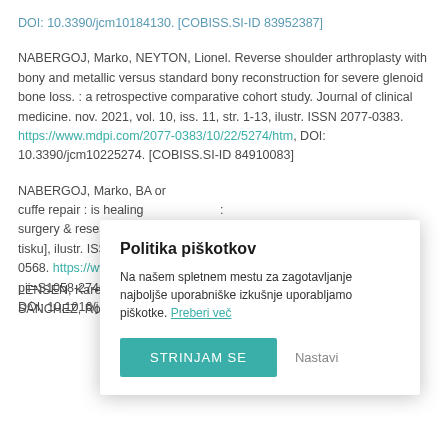DOI: 10.3390/jcm10184130. [COBISS.SI-ID 83952387]
NABERGOJ, Marko, NEYTON, Lionel. Reverse shoulder arthroplasty with bony and metallic versus standard bony reconstruction for severe glenoid bone loss. : a retrospective comparative cohort study. Journal of clinical medicine. nov. 2021, vol. 10, iss. 11, str. 1-13, ilustr. ISSN 2077-0383. https://www.mdpi.com/2077-0383/10/22/5274/htm, DOI: 10.3390/jcm10225274. [COBISS.SI-ID 84910083]
NABERGOJ, Marko, BA[...] or cuffe repair : is healing [...] surgery & research. [20 tisku], ilustr. ISSN 187 0568. https://www.jsh pii=S1058-2746%2822 DOI: 10.1016/j.otsr.20
[Figure (other): Cookie consent modal dialog with title 'Politika piškotkov', body text 'Na našem spletnem mestu za zagotavljanje najboljše uporabniške izkušnje uporabljamo piškotke. Preberi več', and two buttons: 'STRINJAM SE' (teal) and 'Nastavi' (gray text).]
LENSEN, Karel-Jan Da, François, TREBŠE, Rínara, ESCOBERO SÁNCHEZ, Rosa, COBO REINOSO, Javier, et al. The efficacy of